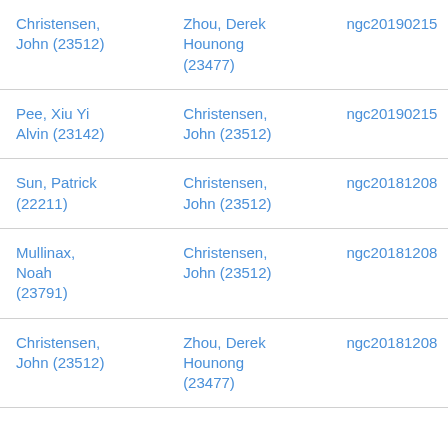| Christensen, John (23512) | Zhou, Derek Hounong (23477) | ngc20190215 |
| Pee, Xiu Yi Alvin (23142) | Christensen, John (23512) | ngc20190215 |
| Sun, Patrick (22211) | Christensen, John (23512) | ngc20181208 |
| Mullinax, Noah (23791) | Christensen, John (23512) | ngc20181208 |
| Christensen, John (23512) | Zhou, Derek Hounong (23477) | ngc20181208 |